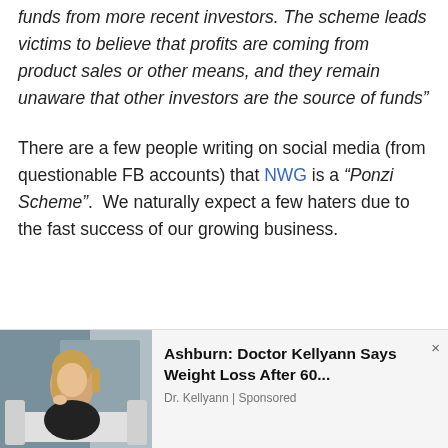funds from more recent investors. The scheme leads victims to believe that profits are coming from product sales or other means, and they remain unaware that other investors are the source of funds"
There are a few people writing on social media (from questionable FB accounts) that NWG is a “Ponzi Scheme”.  We naturally expect a few haters due to the fast success of our growing business.
[Figure (screenshot): Advertisement banner showing a woman and text: Ashburn: Doctor Kellyann Says Weight Loss After 60... Dr. Kellyann | Sponsored]